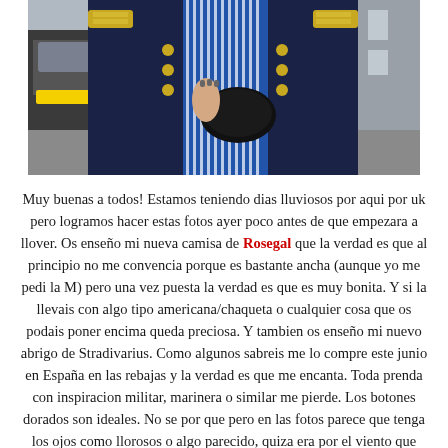[Figure (photo): Cropped photograph of a person wearing a blue and white striped shirt and a dark navy jacket with gold buttons and gold shoulder details, standing outdoors with a car visible in the background.]
Muy buenas a todos! Estamos teniendo dias lluviosos por aqui por uk pero logramos hacer estas fotos ayer poco antes de que empezara a llover. Os enseño mi nueva camisa de Rosegal que la verdad es que al principio no me convencia porque es bastante ancha (aunque yo me pedi la M) pero una vez puesta la verdad es que es muy bonita. Y si la llevais con algo tipo americana/chaqueta o cualquier cosa que os podais poner encima queda preciosa. Y tambien os enseño mi nuevo abrigo de Stradivarius. Como algunos sabreis me lo compre este junio en España en las rebajas y la verdad es que me encanta. Toda prenda con inspiracion militar, marinera o similar me pierde. Los botones dorados son ideales. No se por que pero en las fotos parece que tenga los ojos como llorosos o algo parecido, quiza era por el viento que hacia, que a veces me lloraban jaja. Que tengais un bonito dia. P.D.: Por si os lo preguntais, el labial es de NYX, el liquid suede, concretamente es